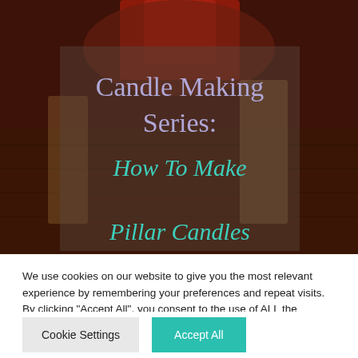[Figure (photo): Background photo of candles in a dark warm-toned setting with a semi-transparent overlay box containing title text: 'Candle Making Series: How To Make Pillar Candles' in serif and handwritten teal fonts]
We use cookies on our website to give you the most relevant experience by remembering your preferences and repeat visits. By clicking “Accept All”, you consent to the use of ALL the cookies. However, you may visit “Cookie Settings” to provide a controlled consent.
Cookie Settings
Accept All